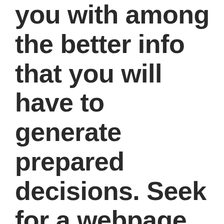you with among the better info that you will have to generate prepared decisions. Seek for a webpage lets you enter some fundamental information about your individual circumstance, and they'll estimate the